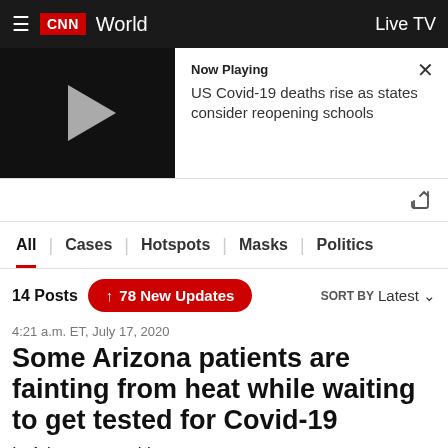CNN World | Live TV
[Figure (screenshot): CNN video player thumbnail showing a play button on dark background with Now Playing: US Covid-19 deaths rise as states consider reopening schools]
Now Playing
US Covid-19 deaths rise as states consider reopening schools
All | Cases | Hotspots | Masks | Politics
14 Posts  ↑ 78 New Updates  SORT BY Latest
4:21 a.m. ET, July 17, 2020
Some Arizona patients are fainting from heat while waiting to get tested for Covid-19
In Arizona, scorching summer temperatures are